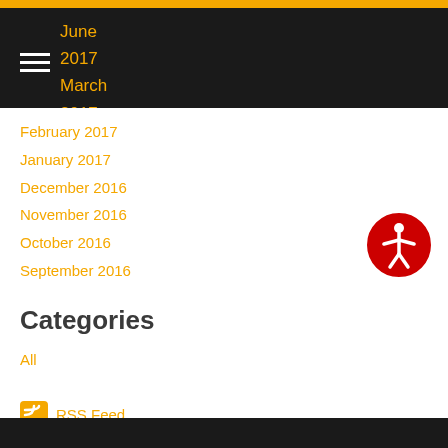Navigation bar with hamburger menu, June 2017, March 2017
February 2017
January 2017
December 2016
November 2016
October 2016
September 2016
Categories
All
[Figure (logo): RSS feed icon, orange square with white wifi-style signal arcs]
RSS Feed
[Figure (logo): Accessibility icon: red circle with white human figure with arms spread]